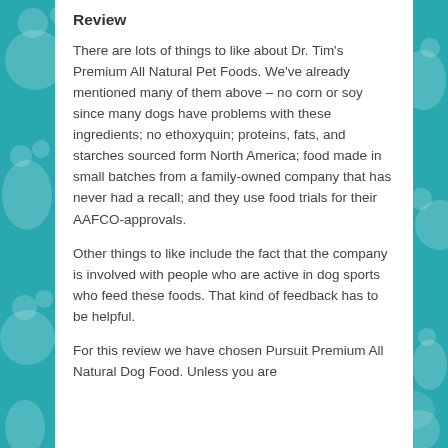Review
There are lots of things to like about Dr. Tim's Premium All Natural Pet Foods. We've already mentioned many of them above – no corn or soy since many dogs have problems with these ingredients; no ethoxyquin; proteins, fats, and starches sourced form North America; food made in small batches from a family-owned company that has never had a recall; and they use food trials for their AAFCO-approvals.
Other things to like include the fact that the company is involved with people who are active in dog sports who feed these foods. That kind of feedback has to be helpful.
For this review we have chosen Pursuit Premium All Natural Dog Food. Unless you are